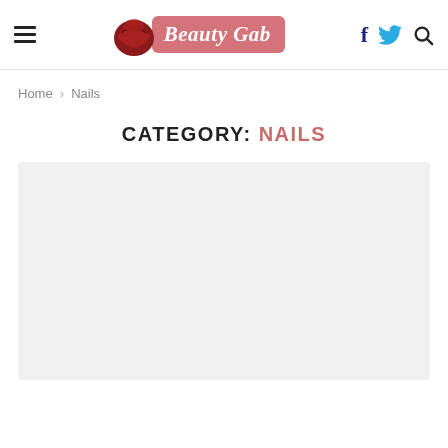[Figure (logo): Beauty Gab logo with lips icon and pink text box]
Home > Nails
CATEGORY: NAILS
[Figure (other): Light gray placeholder rectangle for content image]